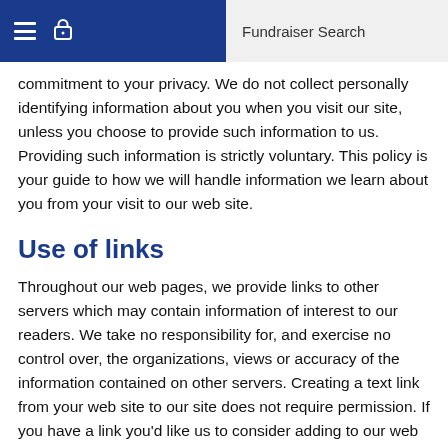Fundraiser Search
commitment to your privacy. We do not collect personally identifying information about you when you visit our site, unless you choose to provide such information to us. Providing such information is strictly voluntary. This policy is your guide to how we will handle information we learn about you from your visit to our web site.
Use of links
Throughout our web pages, we provide links to other servers which may contain information of interest to our readers. We take no responsibility for, and exercise no control over, the organizations, views or accuracy of the information contained on other servers. Creating a text link from your web site to our site does not require permission. If you have a link you'd like us to consider adding to our web site, please